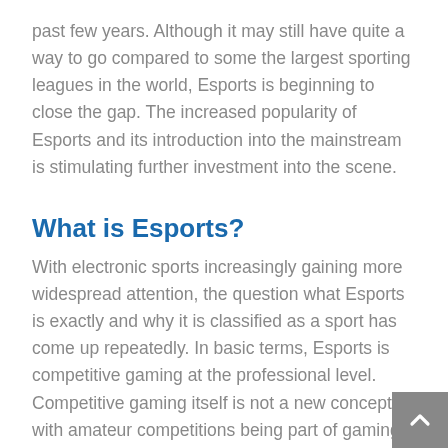past few years. Although it may still have quite a way to go compared to some the largest sporting leagues in the world, Esports is beginning to close the gap.  The increased popularity of Esports and its introduction into the mainstream is stimulating further investment into the scene.
What is Esports?
With electronic sports increasingly gaining more widespread attention, the question what Esports is exactly and why it is classified as a sport has come up repeatedly. In basic terms, Esports is competitive gaming at the professional level. Competitive gaming itself is not a new concept with amateur competitions being part of gaming culture dating back many years. However, competitive gaming to the level of Esports today with teams of